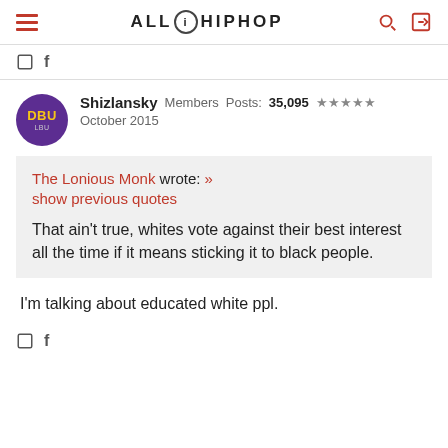ALL HIPHOP
[Figure (logo): AllHipHop website logo with hamburger menu, search icon, and login icon]
Shizlansky  Members  Posts: 35,095  ★★★★★
October 2015
The Lonious Monk wrote: »
show previous quotes

That ain't true, whites vote against their best interest all the time if it means sticking it to black people.
I'm talking about educated white ppl.